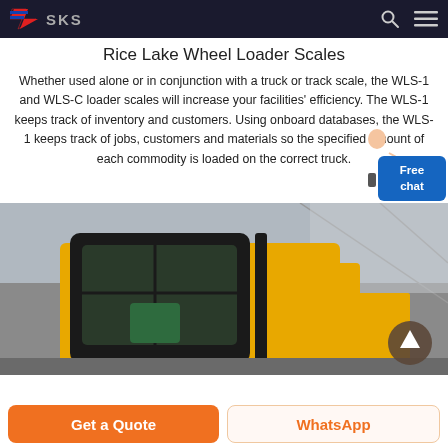SKS (logo and navigation)
Rice Lake Wheel Loader Scales
Whether used alone or in conjunction with a truck or track scale, the WLS-1 and WLS-C loader scales will increase your facilities' efficiency. The WLS-1 keeps track of inventory and customers. Using onboard databases, the WLS-1 keeps track of jobs, customers and materials so the specified amount of each commodity is loaded on the correct truck.
[Figure (photo): Close-up photo of a yellow wheel loader cab interior and body in an industrial warehouse setting. A circular back-to-top button is visible in the lower right corner of the image.]
Get a Quote | WhatsApp